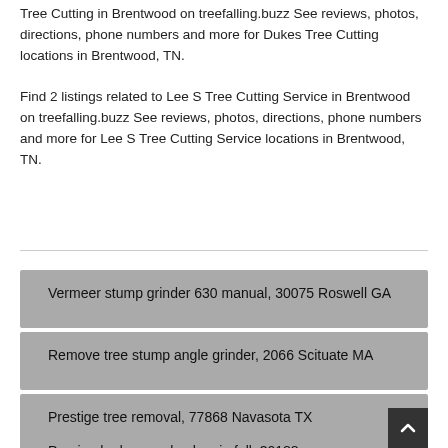Tree Cutting in Brentwood on treefalling.buzz See reviews, photos, directions, phone numbers and more for Dukes Tree Cutting locations in Brentwood, TN.
Find 2 listings related to Lee S Tree Cutting Service in Brentwood on treefalling.buzz See reviews, photos, directions, phone numbers and more for Lee S Tree Cutting Service locations in Brentwood, TN.
Vermeer stump grinder 630 manual, 30075 Roswell GA
Remove tree stump angle grinder, 2066 Scituate MA
Prestige tree removal, 77868 Navasota TX
Pruning hydrangea bushes in fall, 30188 Woodstock GA